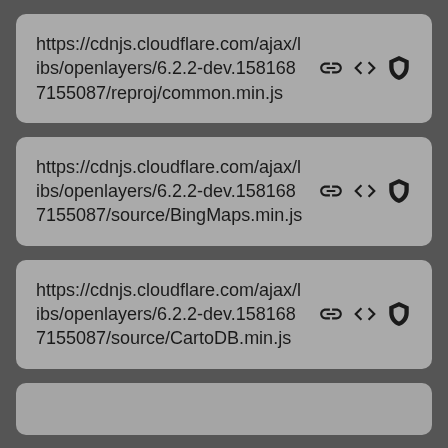https://cdnjs.cloudflare.com/ajax/libs/openlayers/6.2.2-dev.1581687155087/reproj/common.min.js
https://cdnjs.cloudflare.com/ajax/libs/openlayers/6.2.2-dev.1581687155087/source/BingMaps.min.js
https://cdnjs.cloudflare.com/ajax/libs/openlayers/6.2.2-dev.1581687155087/source/CartoDB.min.js